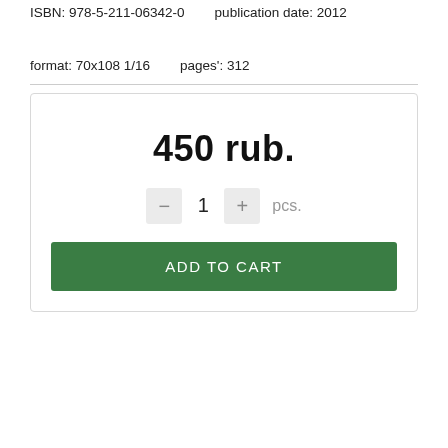ISBN: 978-5-211-06342-0    publication date: 2012    format: 70x108 1/16    pages': 312
450 rub.
— 1 + pcs.
ADD TO CART